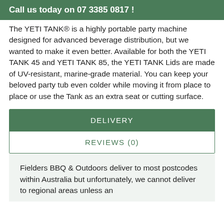Call us today on 07 3385 0817 !
The YETI TANK® is a highly portable party machine designed for advanced beverage distribution, but we wanted to make it even better. Available for both the YETI TANK 45 and YETI TANK 85, the YETI TANK Lids are made of UV-resistant, marine-grade material. You can keep your beloved party tub even colder while moving it from place to place or use the Tank as an extra seat or cutting surface.
DELIVERY
REVIEWS (0)
Fielders BBQ & Outdoors deliver to most postcodes within Australia but unfortunately, we cannot deliver to regional areas unless an